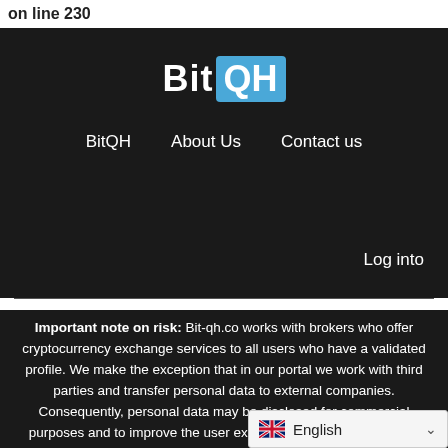on line 230
[Figure (logo): BitQH logo — white bold 'Bit' text followed by 'QH' in a blue rounded rectangle]
BitQH   About Us   Contact us   Log into
Important note on risk: Bit-qh.co works with brokers who offer cryptocurrency exchange services to all users who have a validated profile. We make the exception that in our portal we work with third parties and transfer personal data to external companies. Consequently, personal data may be disclosed for commercial purposes and to improve the user experience. If necessary, these companies can contact you with any other matter. This item is designed to generate income and favor any investor. Despite this, there is a significant risk of losing funds. Read these terms before investing. Finally, there i... tax regulations that customers...
[Figure (screenshot): Language selector showing UK flag and 'English' with a dropdown chevron]